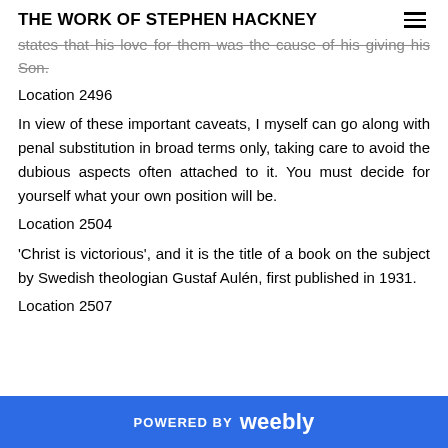THE WORK OF STEPHEN HACKNEY
states that his love for them was the cause of his giving his Son.
Location 2496
In view of these important caveats, I myself can go along with penal substitution in broad terms only, taking care to avoid the dubious aspects often attached to it. You must decide for yourself what your own position will be.
Location 2504
'Christ is victorious', and it is the title of a book on the subject by Swedish theologian Gustaf Aulén, first published in 1931.
Location 2507
POWERED BY weebly